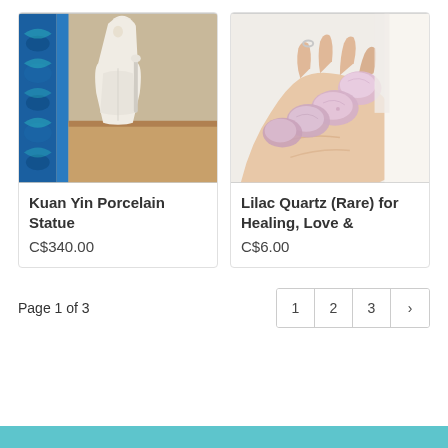[Figure (photo): White porcelain Kuan Yin statue against a blue decorative background]
Kuan Yin Porcelain Statue
C$340.00
[Figure (photo): A hand holding four lilac/pink quartz tumbled stones]
Lilac Quartz (Rare) for Healing, Love &
C$6.00
Page 1 of 3
1  2  3  ›